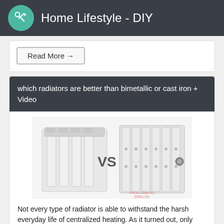Home Lifestyle - DIY
Read More →
which radiators are better than bimetallic or cast iron + Video
[Figure (photo): Two heating radiators side by side with 'VS' text between them — a modern bimetallic radiator on the left and a cast iron radiator on the right.]
Not every type of radiator is able to withstand the harsh everyday life of centralized heating. As it turned out, only bimetal and cast iron do not burst from high pressure and are not eaten by corr...